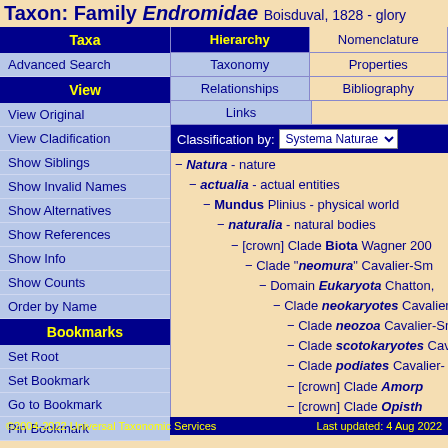Taxon: Family Endromidae Boisduval, 1828 - glory
| Taxa | Hierarchy | Nomenclature |
| --- | --- | --- |
| Advanced Search | Taxonomy | Properties |
| View | Relationships | Bibliography |
| View Original | Links |  |
| View Cladification | Classification by: Systema Naturae |  |
| Show Siblings |  |  |
| Show Invalid Names |  |  |
| Show Alternatives |  |  |
| Show References |  |  |
| Show Info |  |  |
| Show Counts |  |  |
| Order by Name |  |  |
| Bookmarks |  |  |
| Set Root |  |  |
| Set Bookmark |  |  |
| Go to Bookmark |  |  |
| Pin Bookmark |  |  |
− Natura - nature
− actualia - actual entities
− Mundus Plinius - physical world
− naturalia - natural bodies
− [crown] Clade Biota Wagner 20...
− Clade "neomura" Cavalier-Sm...
− Domain Eukaryota Chatton,...
− Clade neokaryotes Cavalier-...
− Clade neozoa Cavalier-Smi...
− Clade scotokaryotes Cav...
− Clade podiates Cavalier-...
− [crown] Clade Amorph...
− [crown] Clade Opisth...
− Superkingdom Hol...
©2004-2022 Universal Taxonomic Services    Last updated: 4 Aug 2022